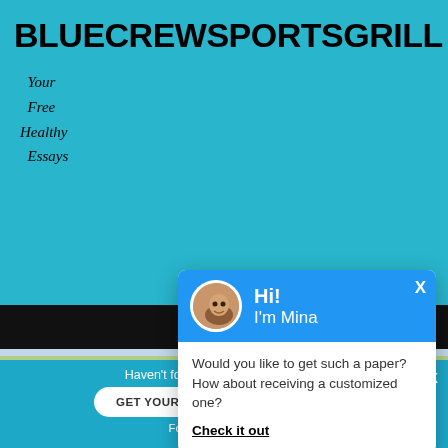BLUECREWSPORTSGRILL
Your
Free
Healthy
Essays
HOME / ARTICLES / MAJOR C... AY
MAJOR CON... OF KAREN HORNEY ESS...
[Figure (screenshot): Chat popup widget with avatar of Mina, header in blue, message asking 'Would you like to get such a paper? How about receiving a customized one?' with 'Check it out' link, floating action buttons for scroll-up and chat.]
Haven't found the Essay You Want?
GET YOUR CUSTOM ESSAY SAMPLE
For Only $13.90/page